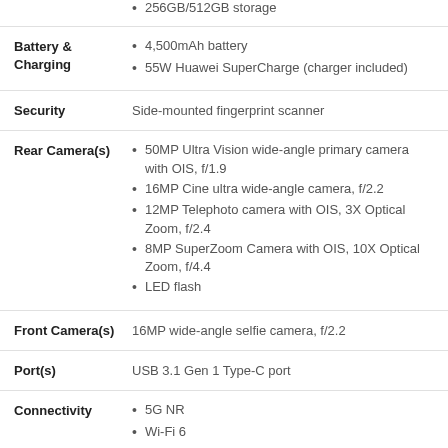256GB/512GB storage
4,500mAh battery
55W Huawei SuperCharge (charger included)
Side-mounted fingerprint scanner
50MP Ultra Vision wide-angle primary camera with OIS, f/1.9
16MP Cine ultra wide-angle camera, f/2.2
12MP Telephoto camera with OIS, 3X Optical Zoom, f/2.4
8MP SuperZoom Camera with OIS, 10X Optical Zoom, f/4.4
LED flash
16MP wide-angle selfie camera, f/2.2
USB 3.1 Gen 1 Type-C port
5G NR
Wi-Fi 6